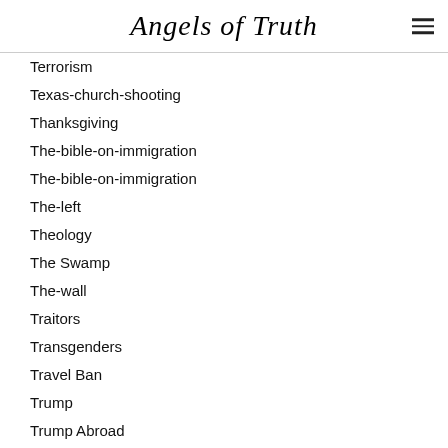Angels of Truth
Terrorism
Texas-church-shooting
Thanksgiving
The-bible-on-immigration
The-bible-on-immigration
The-left
Theology
The Swamp
The-wall
Traitors
Transgenders
Travel Ban
Trump
Trump Abroad
Trump At U.N.
Trump Executive Order
Trump Immigration Plan